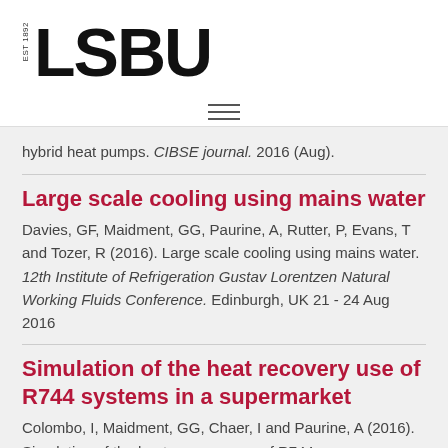[Figure (logo): LSBU logo with EST 1892 text and large bold LSBU lettering]
[Figure (other): Hamburger menu icon with three horizontal lines]
hybrid heat pumps. CIBSE journal. 2016 (Aug).
Large scale cooling using mains water
Davies, GF, Maidment, GG, Paurine, A, Rutter, P, Evans, T and Tozer, R (2016). Large scale cooling using mains water. 12th Institute of Refrigeration Gustav Lorentzen Natural Working Fluids Conference. Edinburgh, UK 21 - 24 Aug 2016
Simulation of the heat recovery use of R744 systems in a supermarket
Colombo, I, Maidment, GG, Chaer, I and Paurine, A (2016). Simulation of the heat recovery use of R744